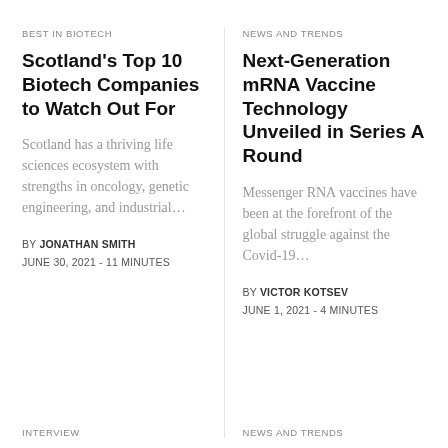BEST IN BIOTECH
Scotland's Top 10 Biotech Companies to Watch Out For
Scotland has a thriving life sciences ecosystem with strengths in oncology, genetic engineering, and industrial…
BY JONATHAN SMITH
JUNE 30, 2021 - 11 MINUTES
NEWS AND TRENDS
Next-Generation mRNA Vaccine Technology Unveiled in Series A Round
Messenger RNA vaccines have been at the forefront of the global struggle against the Covid-19…
BY VICTOR KOTSEV
JUNE 1, 2021 - 4 MINUTES
INTERVIEW
NEWS AND TRENDS